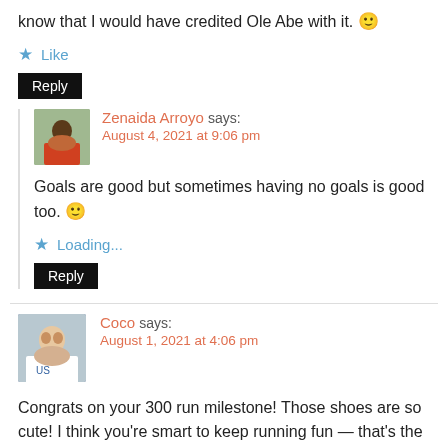know that I would have credited Ole Abe with it. 🙂
★ Like
Reply
Zenaida Arroyo says: August 4, 2021 at 9:06 pm
Goals are good but sometimes having no goals is good too. 🙂
★ Loading...
Reply
Coco says: August 1, 2021 at 4:06 pm
Congrats on your 300 run milestone! Those shoes are so cute! I think you're smart to keep running fun — that's the